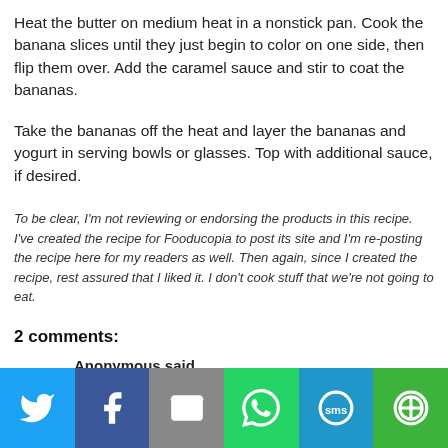Heat the butter on medium heat in a nonstick pan. Cook the banana slices until they just begin to color on one side, then flip them over. Add the caramel sauce and stir to coat the bananas.
Take the bananas off the heat and layer the bananas and yogurt in serving bowls or glasses. Top with additional sauce, if desired.
To be clear, I'm not reviewing or endorsing the products in this recipe. I've created the recipe for Fooducopia to post its site and I'm re-posting the recipe here for my readers as well. Then again, since I created the recipe, rest assured that I liked it. I don't cook stuff that we're not going to eat.
2 comments:
Anonymous said...
[Figure (infographic): Social share bar with icons for Twitter, Facebook, Email, WhatsApp, SMS, and other sharing options]